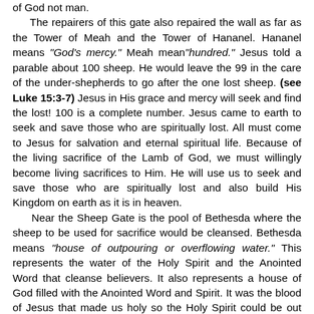of God not man. The repairers of this gate also repaired the wall as far as the Tower of Meah and the Tower of Hananel. Hananel means "God's mercy." Meah mean"hundred." Jesus told a parable about 100 sheep. He would leave the 99 in the care of the under-shepherds to go after the one lost sheep. (see Luke 15:3-7) Jesus in His grace and mercy will seek and find the lost! 100 is a complete number. Jesus came to earth to seek and save those who are spiritually lost. All must come to Jesus for salvation and eternal spiritual life. Because of the living sacrifice of the Lamb of God, we must willingly become living sacrifices to Him. He will use us to seek and save those who are spiritually lost and also build His Kingdom on earth as it is in heaven. Near the Sheep Gate is the pool of Bethesda where the sheep to be used for sacrifice would be cleansed. Bethesda means "house of outpouring or overflowing water." This represents the water of the Holy Spirit and the Anointed Word that cleanse believers. It also represents a house of God filled with the Anointed Word and Spirit. It was the blood of Jesus that made us holy so the Holy Spirit could be out poured on all who believe in the Lamb of God that was